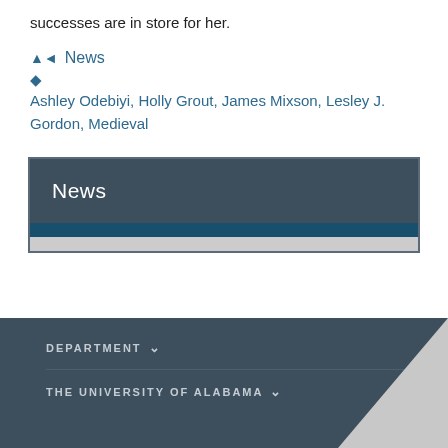successes are in store for her.
News
Ashley Odebiyi, Holly Grout, James Mixson, Lesley J. Gordon, Medieval
[Figure (other): News widget box with dark header labeled 'News', a dark blue bar, and a light gray bar below]
DEPARTMENT
THE UNIVERSITY OF ALABAMA